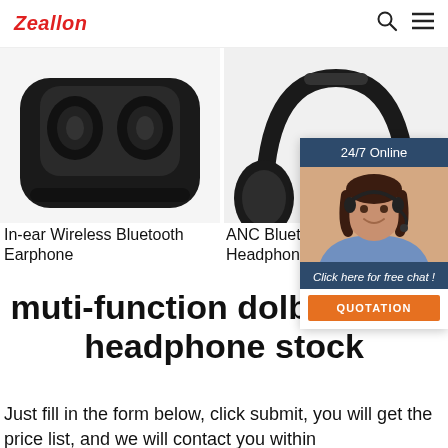Zeallon
[Figure (photo): In-ear Wireless Bluetooth Earphone product photo showing black TWS earbuds in charging case]
In-ear Wireless Bluetooth Earphone
[Figure (photo): ANC Bluetooth Headphone product photo showing black over-ear headphones]
ANC Bluetooth Headphone
[Figure (infographic): 24/7 Online chat widget showing a customer support agent with headset, text 'Click here for free chat!' and an orange QUOTATION button]
muti-function dolby atmos headphone stock
Just fill in the form below, click submit, you will get the price list, and we will contact you within